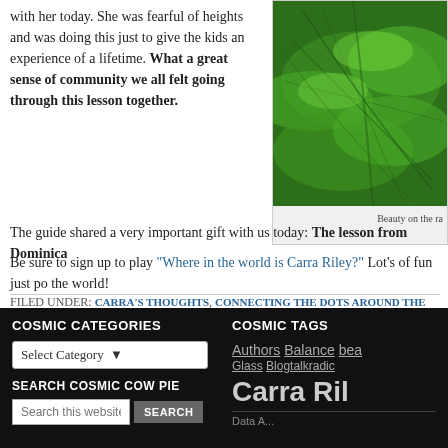with her today. She was fearful of heights and was doing this just to give the kids an experience of a lifetime. What a great sense of community we all felt going through this lesson together.
[Figure (photo): Close-up photograph of green fern leaves, lush and detailed. Caption: Beauty on the ra...]
Beauty on the ra
The guide shared a very important gift with us today: The lesson from Dominica...
Be sure to sign up to play "Where in the world is Carra Riley?" Lot's of fun just po... the world!
FILED UNDER: CARRA'S THOUGHTS, CONNECTING THE DOTS AROUND THE WO... THE WORLD IS CARRA RILEY • TAGGED WITH: CARRA RILEY, CONNECTING THE... COW PIE, DOMINICA, RAINFOREST
COSMIC CATEGORIES
Select Category
SEARCH COSMIC COW PIE
Search this website … SEARCH
COSMIC TAGS
Authors Balance bea... Glass Blogtalkradi... Carra Ril...